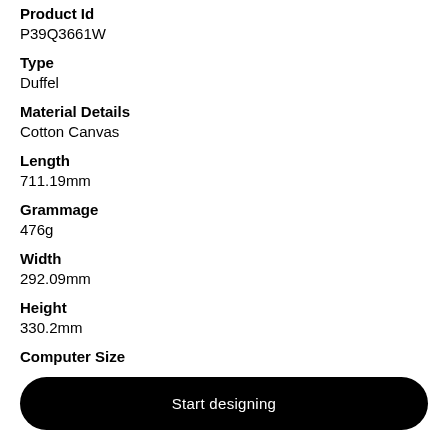Product Id
P39Q3661W
Type
Duffel
Material Details
Cotton Canvas
Length
711.19mm
Grammage
476g
Width
292.09mm
Height
330.2mm
Computer Size
Start designing